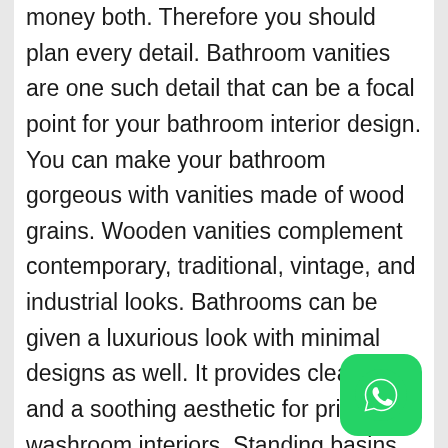money both. Therefore you should plan every detail. Bathroom vanities are one such detail that can be a focal point for your bathroom interior design. You can make your bathroom gorgeous with vanities made of wood grains. Wooden vanities complement contemporary, traditional, vintage, and industrial looks. Bathrooms can be given a luxurious look with minimal designs as well. It provides cleanliness and a soothing aesthetic for private washroom interiors. Standing basins added with a porcelain bowl, concrete, or raw stone can give your bathroom a modern touch.
[Figure (other): WhatsApp green rounded square icon with phone handset symbol]